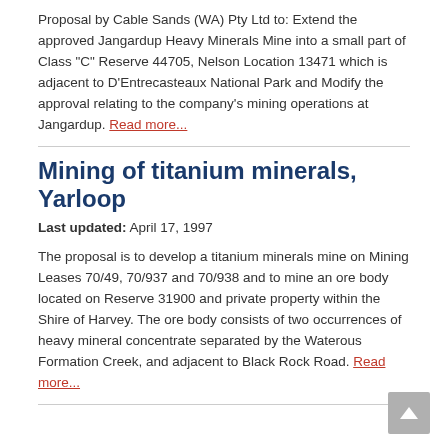Proposal by Cable Sands (WA) Pty Ltd to: Extend the approved Jangardup Heavy Minerals Mine into a small part of Class "C" Reserve 44705, Nelson Location 13471 which is adjacent to D'Entrecasteaux National Park and Modify the approval relating to the company's mining operations at Jangardup. Read more...
Mining of titanium minerals, Yarloop
Last updated: April 17, 1997
The proposal is to develop a titanium minerals mine on Mining Leases 70/49, 70/937 and 70/938 and to mine an ore body located on Reserve 31900 and private property within the Shire of Harvey. The ore body consists of two occurrences of heavy mineral concentrate separated by the Waterous Formation Creek, and adjacent to Black Rock Road. Read more...